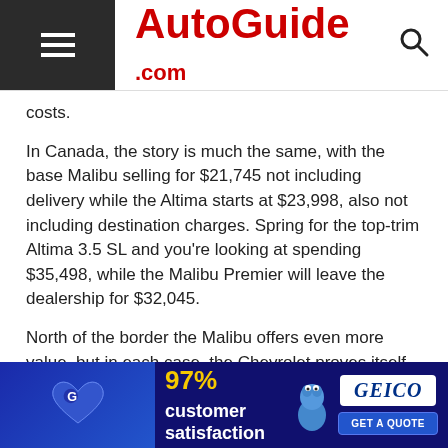AutoGuide.com
costs.
In Canada, the story is much the same, with the base Malibu selling for $21,745 not including delivery while the Altima starts at $23,998, also not including destination charges. Spring for the top-trim Altima 3.5 SL and you're looking at spending $35,498, while the Malibu Premier will leave the dealership for $32,045.
North of the border the Malibu offers even more value, but in each case, the Chevrolet proves itself to be the cheaper car.
The Verdict: 2016 Chevrolet Malibu vs Nissan Altima
What we have here is almost a tie. Two nice handling, well-equipped family cars that offer a solid amount of features for about $30,000. But in the end, it comes down to the ca
[Figure (other): GEICO advertisement banner: 97% customer satisfaction, Get a Quote button, GEICO logo, gecko mascot]